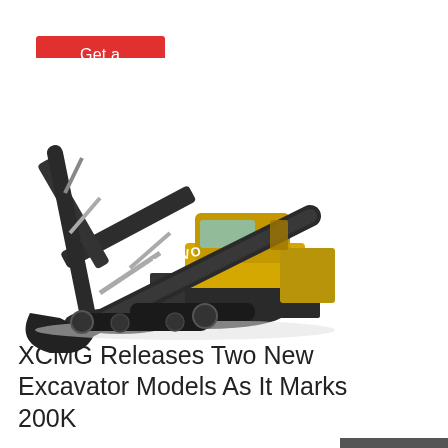Get a quote
[Figure (photo): Volvo branded tracked excavator (yellow cab, dark grey/black arm and undercarriage) shown in profile view on white background]
[Figure (infographic): Dark grey sidebar panel with three contact options: Chat (headset icon), Email (envelope icon), and Contact (speech bubble icon), separated by red dividers]
XCMG Releases Two New Excavator Models As It Marks 200K